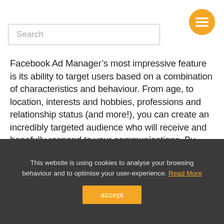Search
Facebook Ad Manager’s most impressive feature is its ability to target users based on a combination of characteristics and behaviour. From age, to location, interests and hobbies, professions and relationship status (and more!), you can create an incredibly targeted audience who will receive and hopefully respond to your communications. By doing so, you’re maximising budget, spending your precious dollars on those who really want your product or service.
This website is using cookies to analyse your browsing behaviour and to optimise your user-experience. Read More
accept